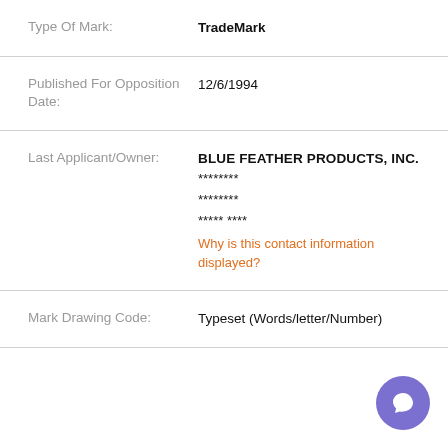Type Of Mark: TradeMark
Published For Opposition Date: 12/6/1994
Last Applicant/Owner: BLUE FEATHER PRODUCTS, INC. ******** ******** ***** **** Why is this contact information displayed?
Mark Drawing Code: Typeset (Words/letter/Number)